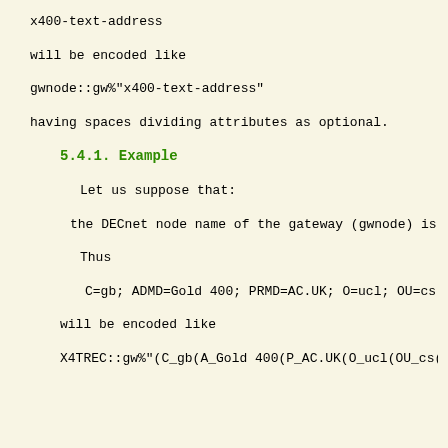x400-text-address
will be encoded like
gwnode::gw%"x400-text-address"
having spaces dividing attributes as optional.
5.4.1. Example
Let us suppose that:
the DECnet node name of the gateway (gwnode) is 'X
Thus
C=gb; ADMD=Gold 400; PRMD=AC.UK; O=ucl; OU=cs; G=
will be encoded like
X4TREC::gw%"(C_gb(A_Gold 400(P_AC.UK(O_ucl(OU_cs(O